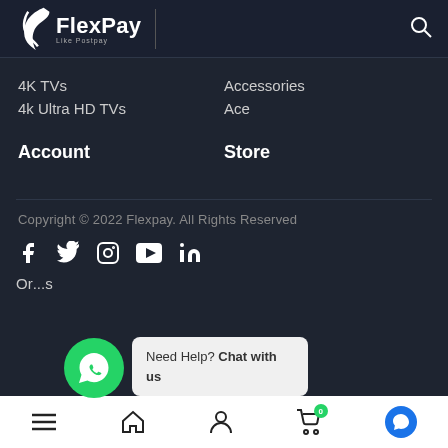[Figure (logo): FlexPay logo with stylized F icon and text 'FlexPay' with tagline 'Like Postpay']
4K TVs
4k Ultra HD TVs
Accessories
Ace
Account
Store
Copyright © 2022 Flexpay. All Rights Reserved
[Figure (infographic): Social media icons row: Facebook, Twitter, Instagram, YouTube, LinkedIn]
Need Help? Chat with us
[Figure (infographic): Bottom navigation bar with hamburger menu, home, user, cart (badge 0), and blue chat circle icons]